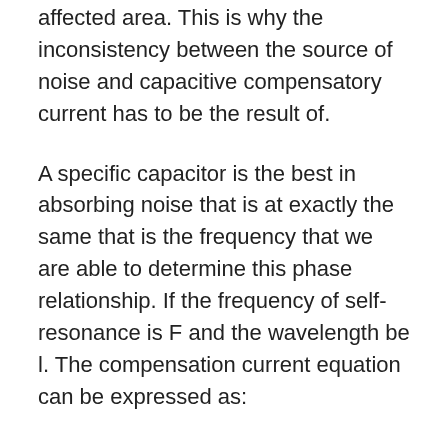affected area. This is why the inconsistency between the source of noise and capacitive compensatory current has to be the result of.
A specific capacitor is the best in absorbing noise that is at exactly the same that is the frequency that we are able to determine this phase relationship. If the frequency of self-resonance is F and the wavelength be l. The compensation current equation can be expressed as:
Of these A is the current's amplitude and R the the...